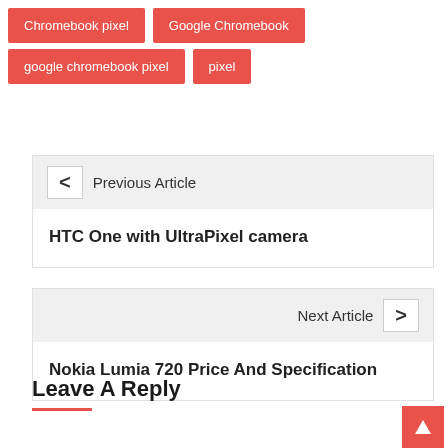Chromebook pixel
Google Chromebook
google chromebook pixel
pixel
< Previous Article
HTC One with UltraPixel camera
Next Article >
Nokia Lumia 720 Price And Specification
Leave A Reply
Enter your comment here...